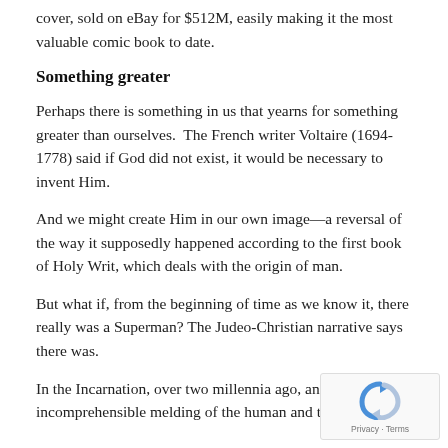cover, sold on eBay for $512M, easily making it the most valuable comic book to date.
Something greater
Perhaps there is something in us that yearns for something greater than ourselves.  The French writer Voltaire (1694-1778) said if God did not exist, it would be necessary to invent Him.
And we might create Him in our own image—a reversal of the way it supposedly happened according to the first book of Holy Writ, which deals with the origin of man.
But what if, from the beginning of time as we know it, there really was a Superman? The Judeo-Christian narrative says there was.
In the Incarnation, over two millennia ago, an incomprehensible melding of the human and the occurred.